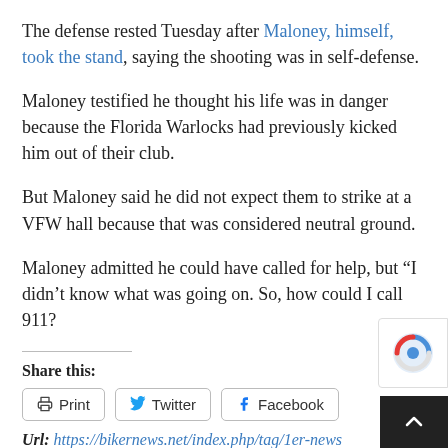The defense rested Tuesday after Maloney, himself, took the stand, saying the shooting was in self-defense.
Maloney testified he thought his life was in danger because the Florida Warlocks had previously kicked him out of their club.
But Maloney said he did not expect them to strike at a VFW hall because that was considered neutral ground.
Maloney admitted he could have called for help, but "I didn't know what was going on. So, how could I call 911?
Share this:
Url: https://bikernews.net/index.php/tag/1er-news